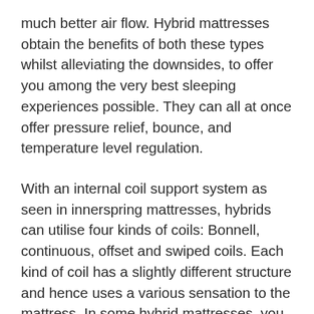much better air flow. Hybrid mattresses obtain the benefits of both these types whilst alleviating the downsides, to offer you among the very best sleeping experiences possible. They can all at once offer pressure relief, bounce, and temperature level regulation.
With an internal coil support system as seen in innerspring mattresses, hybrids can utilise four kinds of coils: Bonnell, continuous, offset and swiped coils. Each kind of coil has a slightly different structure and hence uses a various sensation to the mattress. In some hybrid mattresses, you can go with a zoned system of coils, where thicker, more robust coils are placed in locations where the lower back lies, and thinner coils are placed around